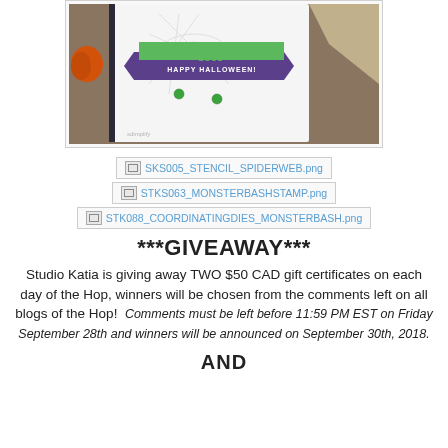[Figure (photo): A Halloween card with a spider web stencil, green gems, and a purple banner reading Happy Halloween, photographed on a wooden surface with pumpkins and fabric in the background.]
[Figure (other): Broken image link: SKS005_STENCIL_SPIDERWEB.png]
[Figure (other): Broken image link: STKS063_MONSTERBASHSTAMP.png]
[Figure (other): Broken image link: STK088_COORDINATINGDIES_MONSTERBASH.png]
***GIVEAWAY***
Studio Katia is giving away TWO $50 CAD gift certificates on each day of the Hop, winners will be chosen from the comments left on all blogs of the Hop!  Comments must be left before 11:59 PM EST on Friday September 28th and winners will be announced on September 30th, 2018.
AND